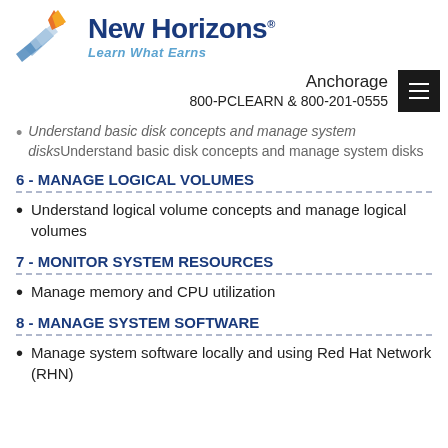[Figure (logo): New Horizons logo with tagline 'Learn What Earns']
Anchorage
800-PCLEARN  & 800-201-0555
Understand basic disk concepts and manage system disks
6 - MANAGE LOGICAL VOLUMES
Understand logical volume concepts and manage logical volumes
7 - MONITOR SYSTEM RESOURCES
Manage memory and CPU utilization
8 - MANAGE SYSTEM SOFTWARE
Manage system software locally and using Red Hat Network (RHN)